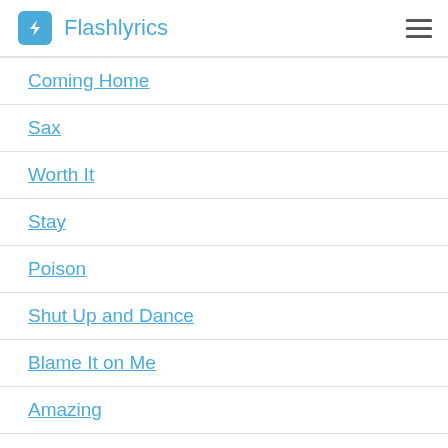Flashlyrics
Coming Home
Sax
Worth It
Stay
Poison
Shut Up and Dance
Blame It on Me
Amazing
Let Me Love You
Green Garden